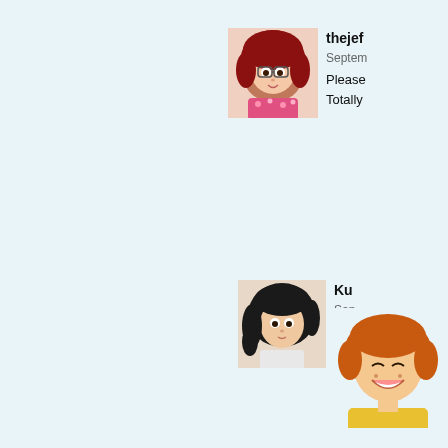[Figure (illustration): Anime-style avatar of a girl with red hair and glasses wearing a floral shirt]
thejef
Septem
Please
Totally
[Figure (illustration): Anime-style avatar of a girl with dark black hair looking thoughtful]
Ku
Sep
Na
SO
Le
sa
an
[Figure (illustration): Anime-style avatar of a cheerful girl with short orange/red hair wearing a yellow top]